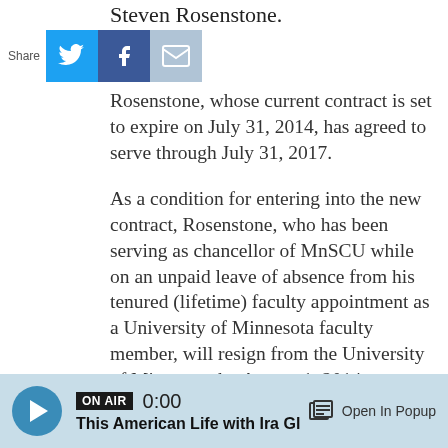Steven Rosenstone.
[Figure (other): Share bar with Twitter, Facebook, and email icons]
Rosenstone, whose current contract is set to expire on July 31, 2014, has agreed to serve through July 31, 2017.
As a condition for entering into the new contract, Rosenstone, who has been serving as chancellor of MnSCU while on an unpaid leave of absence from his tenured (lifetime) faculty appointment as a University of Minnesota faculty member, will resign from the University of Minnesota by August 1, 2014.
The second contract contains additional changes:  Rosenstone's first contract with MnSCU guaranteed him a two-year appointment as a
ON AIR  0:00  This American Life with Ira Gl  Open In Popup